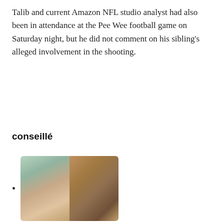Talib and current Amazon NFL studio analyst had also been in attendance at the Pee Wee football game on Saturday night, but he did not comment on his sibling's alleged involvement in the shooting.
conseillé
[thumbnail image]